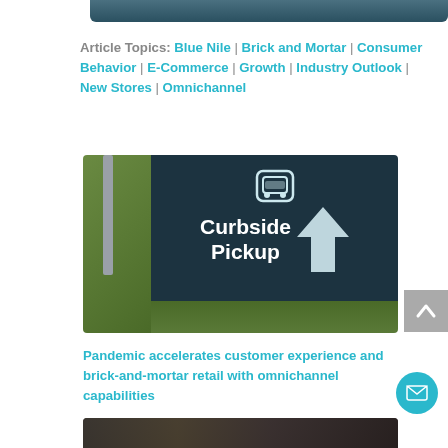[Figure (photo): Partial top image (cropped), dark teal background]
Article Topics: Blue Nile | Brick and Mortar | Consumer Behavior | E-Commerce | Growth | Industry Outlook | New Stores | Omnichannel
[Figure (photo): A dark sign reading 'Curbside Pickup' with an upward arrow, green grass and a pole visible on the left side]
Pandemic accelerates customer experience and brick-and-mortar retail with omnichannel capabilities
[Figure (photo): Partial bottom image (cropped), dark background]